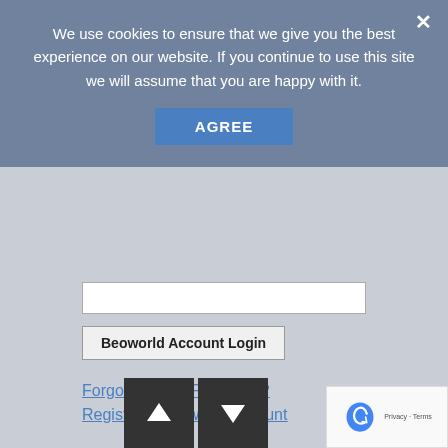We use cookies to ensure that we give you the best experience on our website. If you continue to use this site we will assume that you are happy with it.
AGREE
Beoworld Account Login
Forgotten your Password?
Register a Beoworld Account
Forums
BeoWorld around the world!
BeoWorld For Sale & Wanted
BeoWorld LifeStyle Choices
General Forum